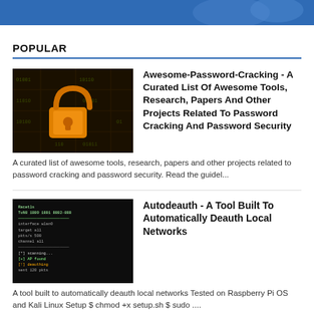POPULAR
[Figure (photo): Circuit board background with orange padlock icon and binary digits]
Awesome-Password-Cracking - A Curated List Of Awesome Tools, Research, Papers And Other Projects Related To Password Cracking And Password Security
A curated list of awesome tools, research, papers and other projects related to password cracking and password security. Read the guidel...
[Figure (screenshot): Terminal/command line screenshot with green text on black background showing Autodeauth tool]
Autodeauth - A Tool Built To Automatically Deauth Local Networks
A tool built to automatically deauth local networks Tested on Raspberry Pi OS and Kali Linux Setup $ chmod +x setup.sh $ sudo ....
[Figure (screenshot): Dark terminal screenshot with green triangle/graph visualization for Aced tool]
Aced - Tool to parse and resolve a single targeted Active Directory principal's DACL
Aced is a tool to parse and resolve a single targeted Active Directory principal's DACL. Aced will identify...